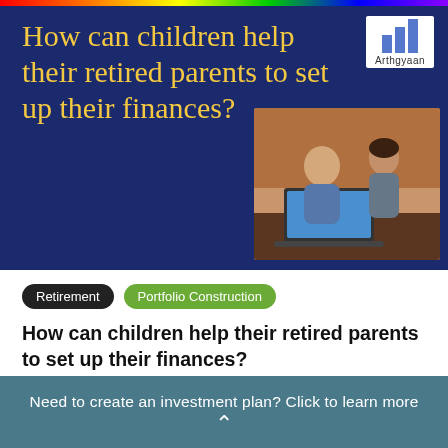[Figure (illustration): Hero banner with dark navy background, yellow/gold handwritten-style title text reading 'How can children help their retired parents to set up their finances?', Arthgyaan logo in top right corner with blue bar chart icon, and a photo of an elderly man and young woman looking at a laptop together]
How can children help their retired parents to set up their finances?
Retirement   Portfolio Construction
How can children help their retired parents to set up their finances?
This article shows the steps to set up an
Need to create an investment plan? Click to learn more